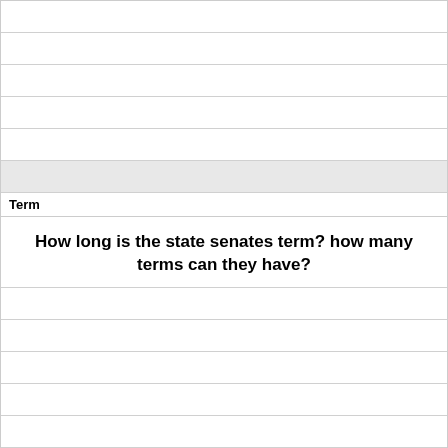Term
How long is the state senates term? how many terms can they have?
Definition
4 years, 2 terms